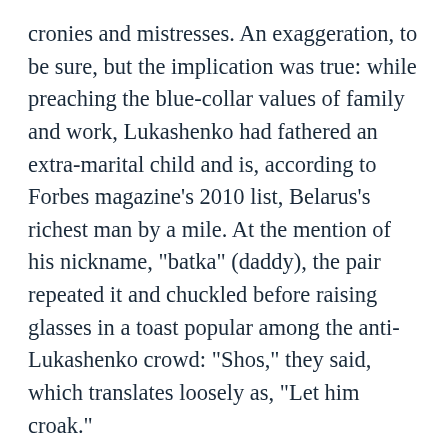cronies and mistresses. An exaggeration, to be sure, but the implication was true: while preaching the blue-collar values of family and work, Lukashenko had fathered an extra-marital child and is, according to Forbes magazine's 2010 list, Belarus's richest man by a mile. At the mention of his nickname, "batka" (daddy), the pair repeated it and chuckled before raising glasses in a toast popular among the anti-Lukashenko crowd: "Shos," they said, which translates loosely as, "Let him croak."
Karl Marx Street happens to be the swankest in the capital. Lined with expensive bars and boutiques that overreach in their attempts at continental chic, it runs parallel to